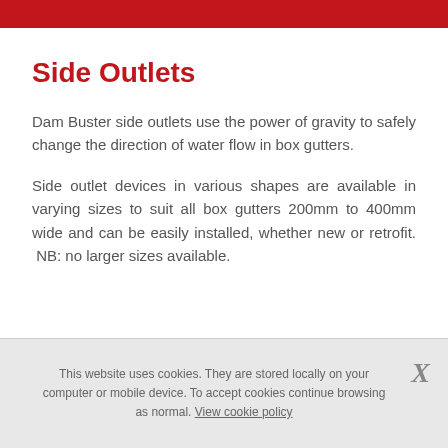Side Outlets
Dam Buster side outlets use the power of gravity to safely change the direction of water flow in box gutters.
Side outlet devices in various shapes are available in varying sizes to suit all box gutters 200mm to 400mm wide and can be easily installed, whether new or retrofit.  NB: no larger sizes available.
This website uses cookies. They are stored locally on your computer or mobile device. To accept cookies continue browsing as normal. View cookie policy